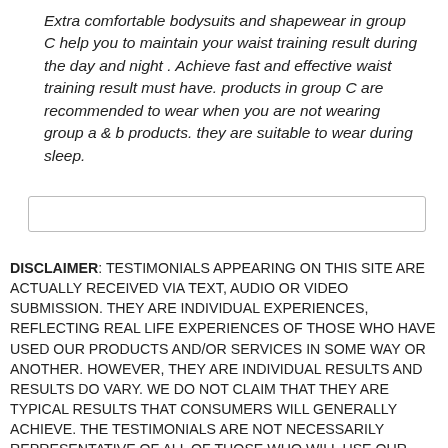Extra comfortable bodysuits and shapewear in group C help you to maintain your waist training result during the day and night . Achieve fast and effective waist training result must have. products in group C are recommended to wear when you are not wearing group a & b products. they are suitable to wear during sleep.
DISCLAIMER: TESTIMONIALS APPEARING ON THIS SITE ARE ACTUALLY RECEIVED VIA TEXT, AUDIO OR VIDEO SUBMISSION. THEY ARE INDIVIDUAL EXPERIENCES, REFLECTING REAL LIFE EXPERIENCES OF THOSE WHO HAVE USED OUR PRODUCTS AND/OR SERVICES IN SOME WAY OR ANOTHER. HOWEVER, THEY ARE INDIVIDUAL RESULTS AND RESULTS DO VARY. WE DO NOT CLAIM THAT THEY ARE TYPICAL RESULTS THAT CONSUMERS WILL GENERALLY ACHIEVE. THE TESTIMONIALS ARE NOT NECESSARILY REPRESENTATIVE OF ALL OF THOSE WHO WILL USE OUR